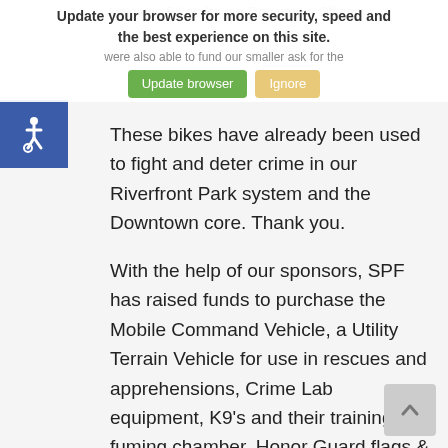[Figure (screenshot): Browser update notification banner with green 'Update browser' button and tan 'Ignore' button, overlaying the page content.]
[Figure (illustration): Accessibility icon (wheelchair symbol) in a blue square on the left side.]
Volcanic Bikes for our Downtown Officers. These bikes have already been used to fight and deter crime in our Riverfront Park system and the Downtown core. Thank you.
With the help of our sponsors, SPF has raised funds to purchase the Mobile Command Vehicle, a Utility Terrain Vehicle for use in rescues and apprehensions, Crime Lab equipment, K9’s and their training, a fuming chamber, Honor Guard flags & uniforms, cadet equipment, cameras for the Domestic Violence Unit, a crime scene body shield, officer training courses and infra-red camera equipment & bulletproof vests for the K9’s.
[Figure (illustration): Scroll-to-top button (chevron up arrow) in gray, bottom right corner.]